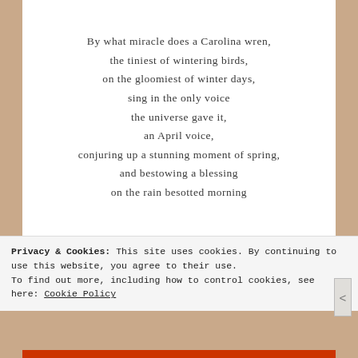By what miracle does a Carolina wren,
the tiniest of wintering birds,
on the gloomiest of winter days,
sing in the only voice
the universe gave it,
an April voice,
conjuring up a stunning moment of spring,
and bestowing a blessing
on the rain besotted morning
Privacy & Cookies: This site uses cookies. By continuing to use this website, you agree to their use.
To find out more, including how to control cookies, see here: Cookie Policy
Close and accept